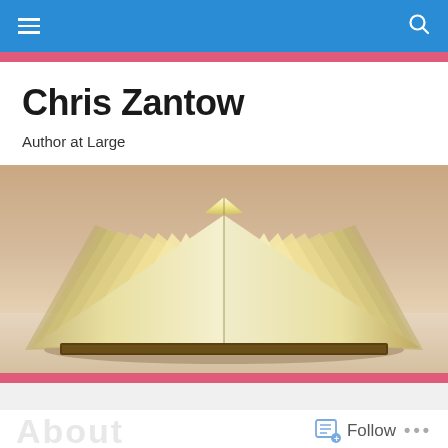navigation bar with hamburger menu and search icon
Chris Zantow
Author at Large
[Figure (photo): Open book photographed from front, pages fanned out, warm beige/cream tones, wooden background]
About
Follow
...